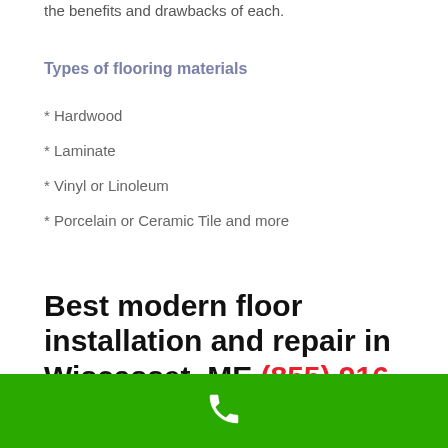the benefits and drawbacks of each.
Types of flooring materials
* Hardwood
* Laminate
* Vinyl or Linoleum
* Porcelain or Ceramic Tile and more
Best modern floor installation and repair in Wiscasset, ME (855) 916-2991
[Figure (illustration): Green bar with white phone icon at bottom of page]